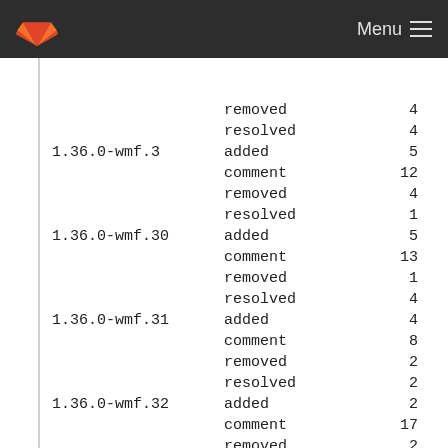GitLab  Menu
| version | action | count |
| --- | --- | --- |
|  | removed | 4 |
|  | resolved | 4 |
| 1.36.0-wmf.3 | added | 5 |
|  | comment | 12 |
|  | removed | 4 |
|  | resolved | 1 |
| 1.36.0-wmf.30 | added | 5 |
|  | comment | 13 |
|  | removed | 1 |
|  | resolved | 4 |
| 1.36.0-wmf.31 | added | 4 |
|  | comment | 8 |
|  | removed | 2 |
|  | resolved | 2 |
| 1.36.0-wmf.32 | added | 2 |
|  | comment | 17 |
|  | removed | 2 |
| 1.36.0-wmf.33 | added | 2 |
|  | comment | 15 |
|  | removed | 2 |
| 1.36.0-wmf.34 | added | 6 |